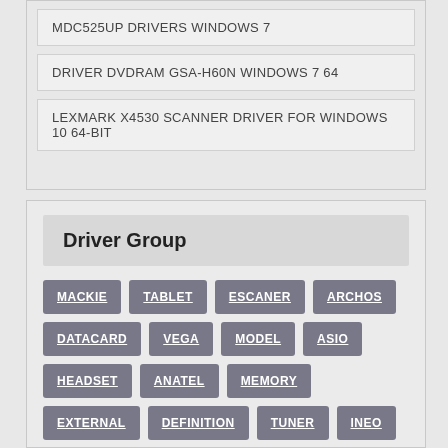MDC525UP DRIVERS WINDOWS 7
DRIVER DVDRAM GSA-H60N WINDOWS 7 64
LEXMARK X4530 SCANNER DRIVER FOR WINDOWS 10 64-BIT
Driver Group
MACKIE TABLET ESCANER ARCHOS DATACARD VEGA MODEL ASIO HEADSET ANATEL MEMORY EXTERNAL DEFINITION TUNER INEO